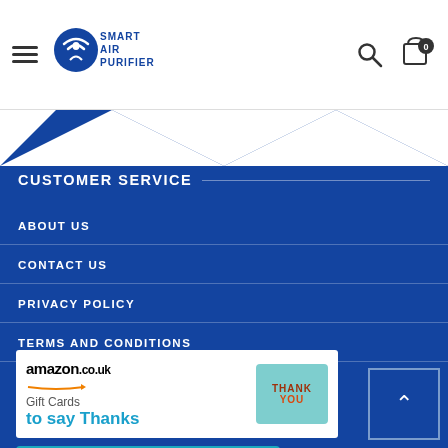[Figure (logo): Smart Air Purifier logo with WiFi signal icon and text]
[Figure (screenshot): Website header navigation with hamburger menu, search icon and cart with 0 items]
CUSTOMER SERVICE
ABOUT US
CONTACT US
PRIVACY POLICY
TERMS AND CONDITIONS
[Figure (illustration): Amazon.co.uk Gift Cards to say Thanks advertisement banner with Thank You badge]
[Figure (illustration): Prime Video banner strip in teal/cyan at the bottom]